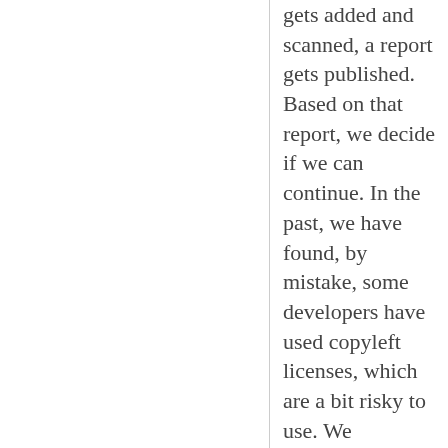gets added and scanned, a report gets published. Based on that report, we decide if we can continue. In the past, we have found, by mistake, some developers have used copyleft licenses, which are a bit risky to use. We immediately replace these with more permissive, open-source licenses, so we are safe in the end.